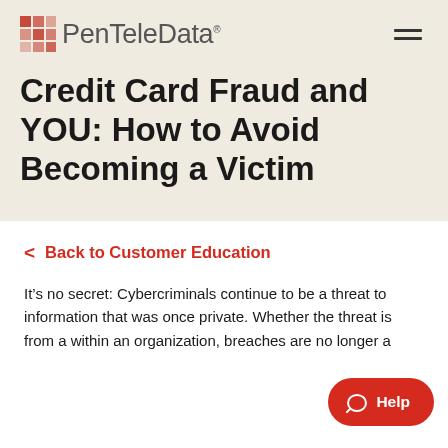PenTeleData
Credit Card Fraud and YOU: How to Avoid Becoming a Victim
< Back to Customer Education
It’s no secret: Cybercriminals continue to be a threat to information that was once private. Whether the threat is from a within an organization, breaches are no longer a